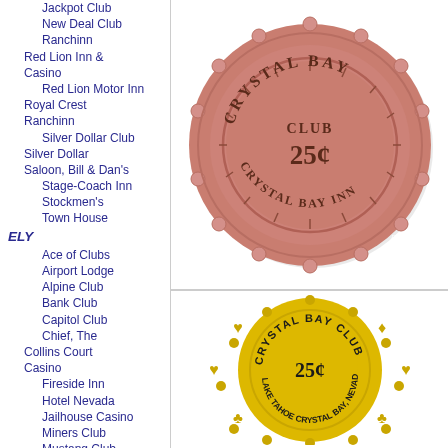Jackpot Club
New Deal Club
Ranchinn
Red Lion Inn & Casino
Red Lion Motor Inn
Royal Crest Ranchinn
Silver Dollar Club
Silver Dollar Saloon, Bill & Dan's
Stage-Coach Inn
Stockmen's
Town House
ELY
Ace of Clubs
Airport Lodge
Alpine Club
Bank Club
Capitol Club
Chief, The
Collins Court Casino
Fireside Inn
Hotel Nevada
Jailhouse Casino
Miners Club
Mustang Club
Northern Lounge
Pit, The
Saddle Club
[Figure (photo): Crystal Bay Club 25 cent casino chip - pink/salmon colored, circular with embossed text reading CRYSTAL BAY CLUB 25¢ CRYSTAL BAY INN, with decorative edging]
[Figure (photo): Crystal Bay Club 25 cent casino chip - yellow colored, circular with embossed text reading CRYSTAL BAY CLUB 25¢ LAKE TAHOE CRYSTAL BAY, NEVADA, with card suit symbols (hearts, clubs, diamonds)]